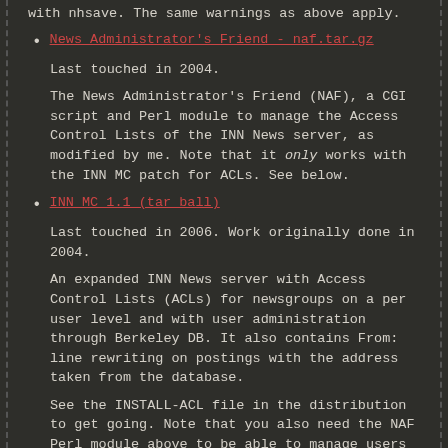with nhsave. The same warnings as above apply.
News Administrator's Friend - naf.tar.gz
Last touched in 2004.
The News Administrator's Friend (NAF), a CGI script and Perl module to manage the Access Control Lists of the INN News server, as modified by me. Note that it only works with the INN MC patch for ACLs. See below.
INN MC 1.1 (tar ball)
Last touched in 2006. Work originally done in 2004.
An expanded INN News server with Access Control Lists (ACLs) for newsgroups on a per user level and with user administration through Berkeley DB. It also contains From: line rewriting on postings with the address taken from the database.
See the INSTALL-ACL file in the distribution to get going. Note that you also need the NAF Perl module above to be able to manage users and edit the ACLs.
This release fixes a bug where a data item in a table wasn't always NUL terminated. It also